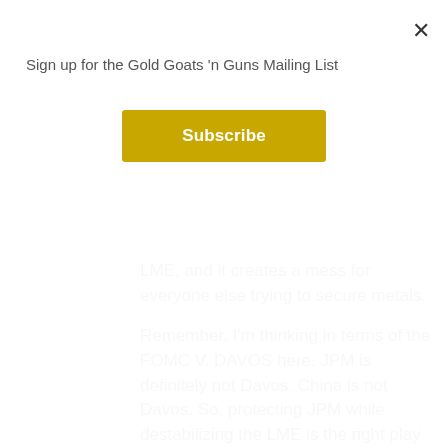Sign up for the Gold Goats 'n Guns Mailing List
×
Subscribe
LME, and it creates a mess for everyone else trying to secure metals.
Remember, I'm thinking in terms of the FOMC V. DAVOS here. JPM is definitely not Davos. China is not Davos. So, protecting JPM while destabilizing the LME is the right play here if I'm right
Loading...
Log in to Reply